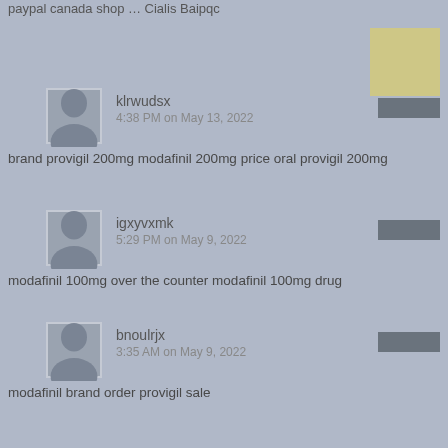paypal canada shop … Cialis Baipqc
klrwudsx
4:38 PM on May 13, 2022
brand provigil 200mg modafinil 200mg price oral provigil 200mg
igxyvxmk
5:29 PM on May 9, 2022
modafinil 100mg over the counter modafinil 100mg drug
bnoulrjx
3:35 AM on May 9, 2022
modafinil brand order provigil sale
zypkyq
7:25 AM on May 6, 2022
hydroxychloroquine tablet side effects of hydroxychloroquine
DInpurdyjg
6:54 PM on April 26, 2022